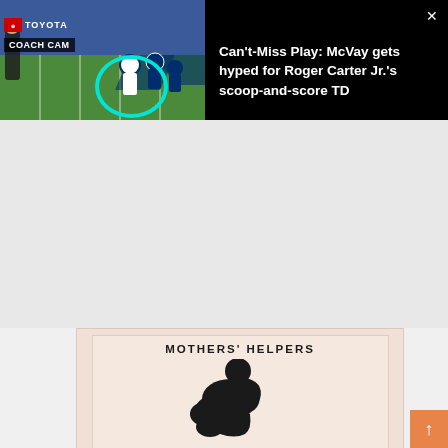[Figure (screenshot): Video thumbnail showing NFL Coach Cam footage with Toyota branding, players on field, cyan circle overlay highlighting a play, and text 'Can't-Miss Play: McVay gets hyped for Roger Carter Jr.'s scoop-and-score TD']
Can't-Miss Play: McVay gets hyped for Roger Carter Jr.'s scoop-and-score TD
[Figure (infographic): Mothers' Helpers infographic with title 'MOTHERS' HELPERS' and silhouette illustration of a mother holding a baby]